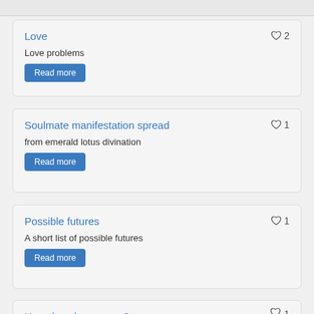Love — ♡ 2 — Love problems — Read more
Soulmate manifestation spread — ♡ 1 — from emerald lotus divination — Read more
Possible futures — ♡ 1 — A short list of possible futures — Read more
How does he see me? — ♡ 1 (partial)